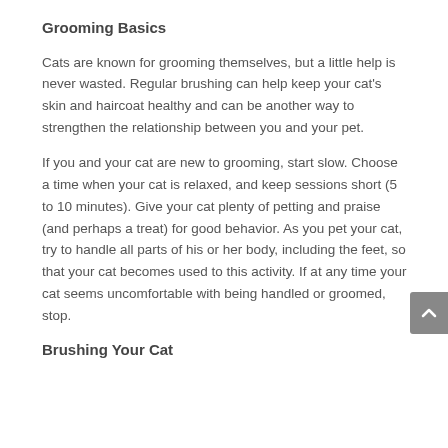Grooming Basics
Cats are known for grooming themselves, but a little help is never wasted. Regular brushing can help keep your cat's skin and haircoat healthy and can be another way to strengthen the relationship between you and your pet.
If you and your cat are new to grooming, start slow. Choose a time when your cat is relaxed, and keep sessions short (5 to 10 minutes). Give your cat plenty of petting and praise (and perhaps a treat) for good behavior. As you pet your cat, try to handle all parts of his or her body, including the feet, so that your cat becomes used to this activity. If at any time your cat seems uncomfortable with being handled or groomed, stop.
Brushing Your Cat